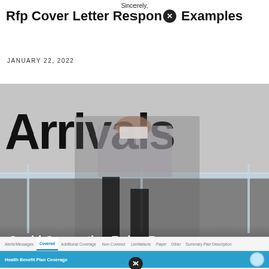Sincerely,
Rfp Cover Letter Response Examples
JANUARY 22, 2022
[Figure (photo): Person wearing a face mask walking through an airport arrivals area, pulling luggage on a cart, with a large 'Arrivals' sign in the background]
Covid Quarantine Rules Bc
JANUARY 22, 2022
[Figure (screenshot): Health benefit plan coverage UI with tabs: Alerts/Messages, Covered (active), Additional Coverage, Non-Covered, Limitations, Payer, Other, Summary Plan Description. Below shows Health Benefit Plan Coverage header in blue, with Active Coverage and Preferred Provider Guarantee fields.]